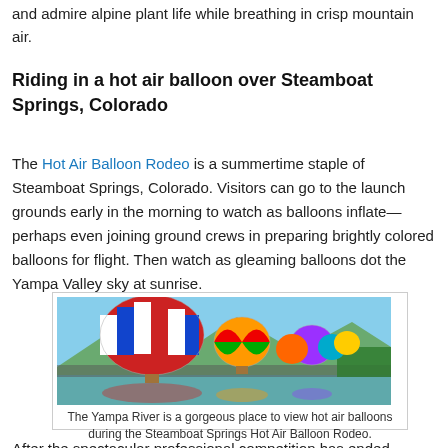and admire alpine plant life while breathing in crisp mountain air.
Riding in a hot air balloon over Steamboat Springs, Colorado
The Hot Air Balloon Rodeo is a summertime staple of Steamboat Springs, Colorado. Visitors can go to the launch grounds early in the morning to watch as balloons inflate—perhaps even joining ground crews in preparing brightly colored balloons for flight. Then watch as gleaming balloons dot the Yampa Valley sky at sunrise.
[Figure (photo): Colorful hot air balloons including a red, white and blue striped balloon and several other vibrant balloons reflected in the Yampa River with mountains in the background.]
The Yampa River is a gorgeous place to view hot air balloons during the Steamboat Springs Hot Air Balloon Rodeo.
After the spectacular professional competition has ended